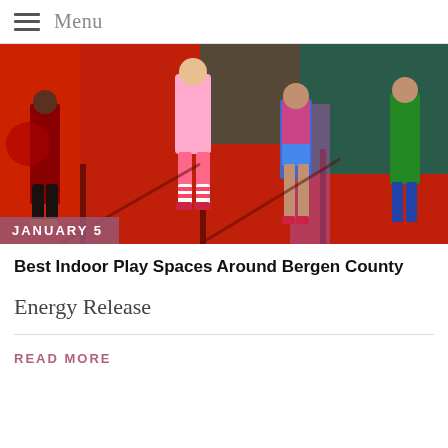Menu
[Figure (photo): Children jumping and playing in a red indoor trampoline/bounce house play space. Multiple kids visible with colorful clothing and striped socks. Red floor and walls with dark green panels in background.]
JANUARY 5
Best Indoor Play Spaces Around Bergen County
Energy Release
READ MORE